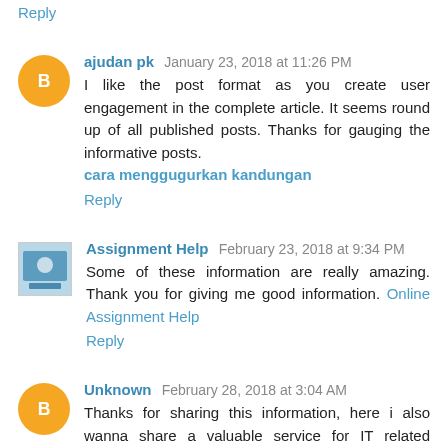Reply
ajudan pk January 23, 2018 at 11:26 PM
I like the post format as you create user engagement in the complete article. It seems round up of all published posts. Thanks for gauging the informative posts.
cara menggugurkan kandungan
Reply
Assignment Help February 23, 2018 at 9:34 PM
Some of these information are really amazing. Thank you for giving me good information. Online Assignment Help
Reply
Unknown February 28, 2018 at 3:04 AM
Thanks for sharing this information, here i also wanna share a valuable service for IT related peoples which is